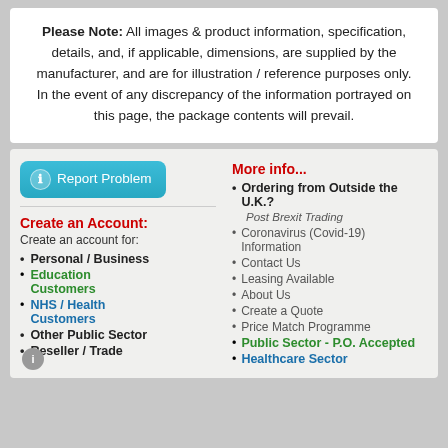Please Note: All images & product information, specification, details, and, if applicable, dimensions, are supplied by the manufacturer, and are for illustration / reference purposes only. In the event of any discrepancy of the information portrayed on this page, the package contents will prevail.
Personal / Business
Education Customers
NHS / Health Customers
Other Public Sector
Reseller / Trade
Ordering from Outside the U.K.?
Coronavirus (Covid-19) Information
Contact Us
Leasing Available
About Us
Create a Quote
Price Match Programme
Public Sector - P.O. Accepted
Healthcare Sector